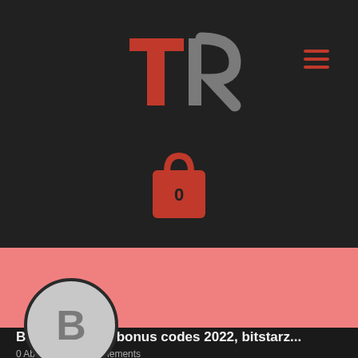[Figure (logo): TR logo with red T and grey R letters, and a red hamburger menu icon in the top right]
[Figure (illustration): Shopping bag icon in red/dark with the number 0 inside, on dark background]
[Figure (illustration): User profile avatar circle with letter B in grey, on pink/dark background section]
Suivre
Bitstarz casino bonus codes 2022, bitstarz...
0 Abonnés • 0 Abonnements